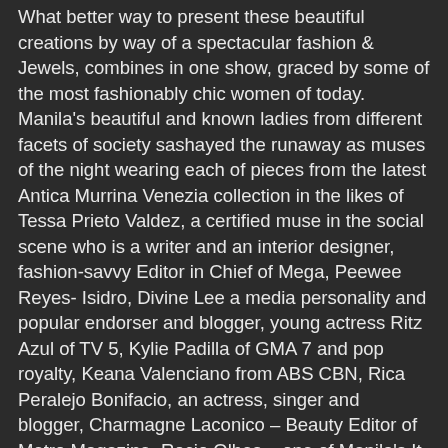What better way to present these beautiful creations by way of a spectacular fashion & Jewels, combines in one show, graced by some of the most fashionably chic women of today. Manila's beautiful and known ladies from different facets of society sashayed the runaway as muses of the night wearing each of pieces from the latest Antica Murrina Venezia collection in the likes of Tessa Prieto Valdez, a certified muse in the social scene who is a writer and an interior designer, fashion-savvy Editor in Chief of Mega, Peewee Reyes- Isidro, Divine Lee a media personality and popular endorser and blogger, young actress Ritz Azul of TV 5, Kylie Padilla of GMA 7 and pop royalty, Keana Valenciano from ABS CBN, Rica Peralejo Bonifacio, an actress, singer and blogger, Charmagne Laconico – Beauty Editor of Metro Magazine, Rocio Olbes – one of Manila's It-Girls and social advocate for welfare of livelihood projects for women in need, the beautiful and fashion-savvy socialites, Jerika Ejercito and Camille Farinas Mathay, Abby Asistio, a musician and social advocate for Alopecia Awareness alongside the top models headed by Asia's Next Top Model's Jodilly Piendre ending the glamorous night together with the brand ambassadress, the Face of Antica Murrina Philippines, Ms. Maggie Wilson Consunji, who walked in beautiful Abel...